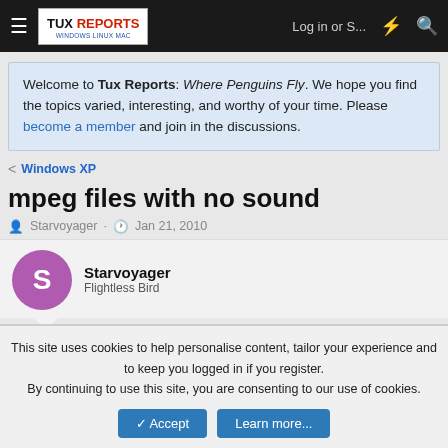TUX REPORTS | Log in or S... | [icons]
Welcome to Tux Reports: Where Penguins Fly. We hope you find the topics varied, interesting, and worthy of your time. Please become a member and join in the discussions.
< Windows XP
mpeg files with no sound
Starvoyager · Jan 21, 2010
Starvoyager
Flightless Bird
Jan 21, 2010  #1
This site uses cookies to help personalise content, tailor your experience and to keep you logged in if you register.
By continuing to use this site, you are consenting to our use of cookies.